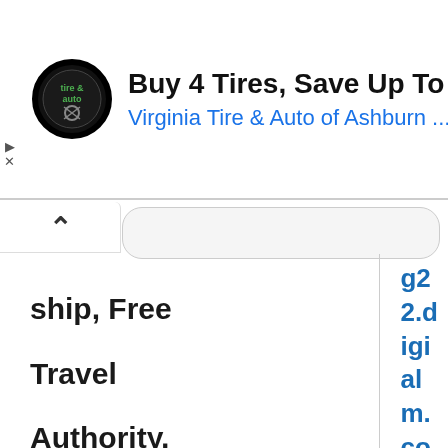[Figure (other): Advertisement banner: circular tire and auto logo, text 'Buy 4 Tires, Save Up To $110' and 'Virginia Tire & Auto of Ashburn ...' with blue navigation arrow icon.]
ship, Free
Travel
Authority,
view mock
link and
raise query,
if any, on
helpdesk
g22.digialm.com//EForm